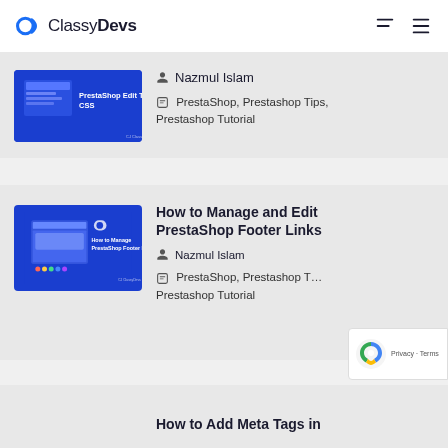ClassyDevs
[Figure (screenshot): Blue thumbnail with text 'PrestaShop Edit Theme CSS']
Nazmul Islam
PrestaShop, Prestashop Tips, Prestashop Tutorial
[Figure (screenshot): Blue thumbnail with text 'How to Manage PrestaShop Footer Links']
How to Manage and Edit PrestaShop Footer Links
Nazmul Islam
PrestaShop, Prestashop Tips, Prestashop Tutorial
How to Add Meta Tags in